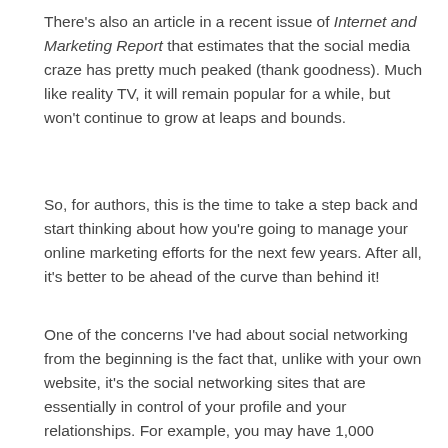There's also an article in a recent issue of Internet and Marketing Report that estimates that the social media craze has pretty much peaked (thank goodness). Much like reality TV, it will remain popular for a while, but won't continue to grow at leaps and bounds.
So, for authors, this is the time to take a step back and start thinking about how you're going to manage your online marketing efforts for the next few years. After all, it's better to be ahead of the curve than behind it!
One of the concerns I've had about social networking from the beginning is the fact that, unlike with your own website, it's the social networking sites that are essentially in control of your profile and your relationships. For example, you may have 1,000 Facebook friends. But if they stop using Facebook, then you've essentially lost them. You don't have their contact info